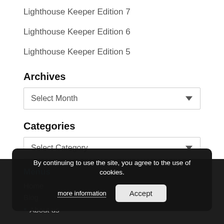Lighthouse Keeper Edition 7
Lighthouse Keeper Edition 6
Lighthouse Keeper Edition 5
Archives
Select Month
Categories
Select Category
Menus
Home
Blog
About us
By continuing to use the site, you agree to the use of cookies.
more information
Accept